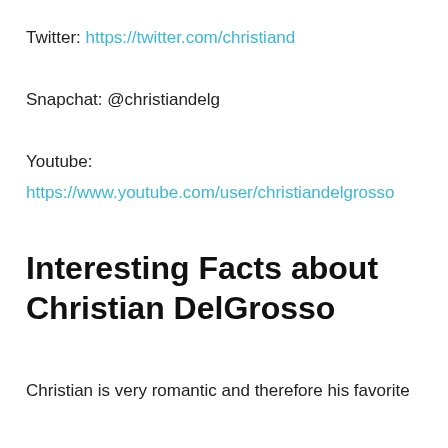Twitter: https://twitter.com/christiand
Snapchat: @christiandelg
Youtube:
https://www.youtube.com/user/christiandelgrosso
Interesting Facts about Christian DelGrosso
Christian is very romantic and therefore his favorite